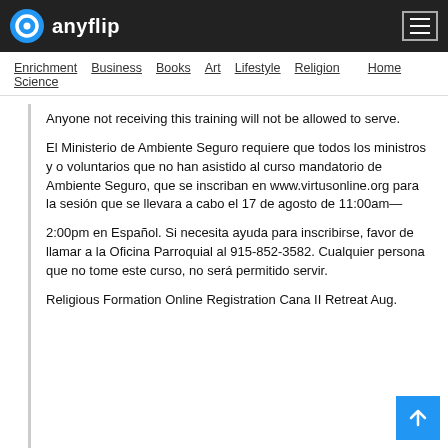anyflip — Enrichment | Business | Books | Art | Lifestyle | Religion | Home | Science
Anyone not receiving this training will not be allowed to serve.
El Ministerio de Ambiente Seguro requiere que todos los ministros y o voluntarios que no han asistido al curso mandatorio de Ambiente Seguro, que se inscriban en www.virtusonline.org para la sesión que se llevara a cabo el 17 de agosto de 11:00am—
2:00pm en Español. Si necesita ayuda para inscribirse, favor de llamar a la Oficina Parroquial al 915-852-3582. Cualquier persona que no tome este curso, no será permitido servir.
Religious Formation Online Registration Cana II Retreat Aug.